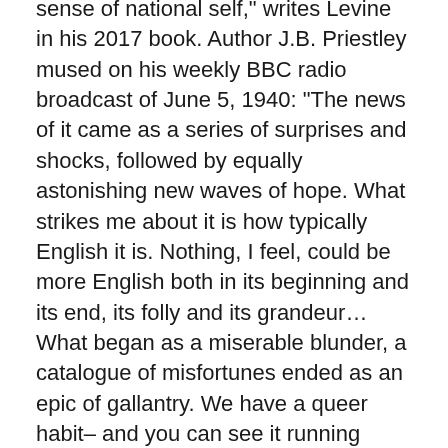sense of national self," writes Levine in his 2017 book. Author J.B. Priestley mused on his weekly BBC radio broadcast of June 5, 1940: “The news of it came as a series of surprises and shocks, followed by equally astonishing new waves of hope. What strikes me about it is how typically English it is. Nothing, I feel, could be more English both in its beginning and its end, its folly and its grandeur… What began as a miserable blunder, a catalogue of misfortunes ended as an epic of gallantry. We have a queer habit– and you can see it running through our history– of conjuring up such transformations.”
“Dunkirk” too is transforming history. Nolan calls his serious entertainment “an intimate epic” about “communal heroism.” Yet valor is individualized, equivocally.
In the opening scene Tommy (Fionn Whitehead) makes